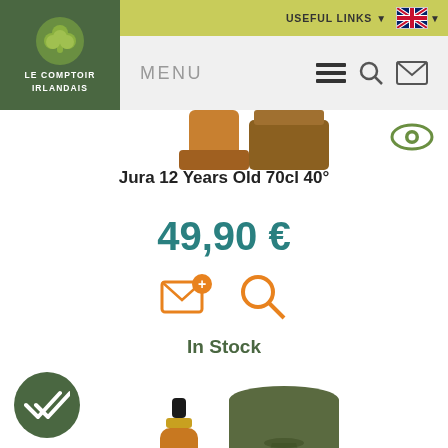USEFUL LINKS
[Figure (logo): Le Comptoir Irlandais logo with shamrock and white text on dark green background]
MENU
[Figure (photo): Top portion of Jura whisky bottle]
Jura 12 Years Old 70cl 40°
49,90 €
[Figure (infographic): Add to wishlist and search orange icons]
In Stock
[Figure (photo): Jura whisky bottle with dark green cylindrical gift box]
[Figure (infographic): Green circular badge with double checkmark]